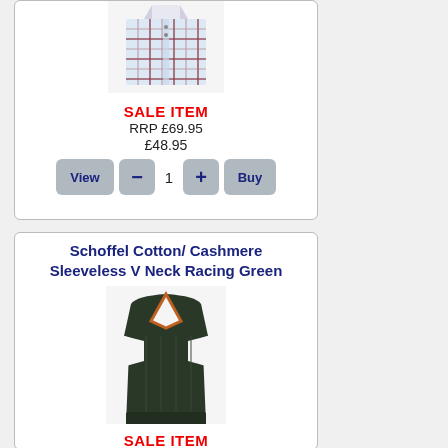[Figure (photo): Schoffel checked shirt product image]
SALE ITEM
RRP £69.95
£48.95
Schoffel Cotton/ Cashmere Sleeveless V Neck Racing Green
[Figure (photo): Schoffel dark green sleeveless v-neck vest product image]
SALE ITEM
RRP £89.95